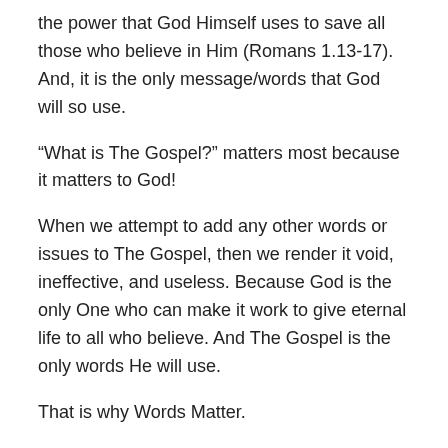the power that God Himself uses to save all those who believe in Him (Romans 1.13-17). And, it is the only message/words that God will so use.
“What is The Gospel?” matters most because it matters to God!
When we attempt to add any other words or issues to The Gospel, then we render it void, ineffective, and useless. Because God is the only One who can make it work to give eternal life to all who believe. And The Gospel is the only words He will use.
That is why Words Matter.
Share this: